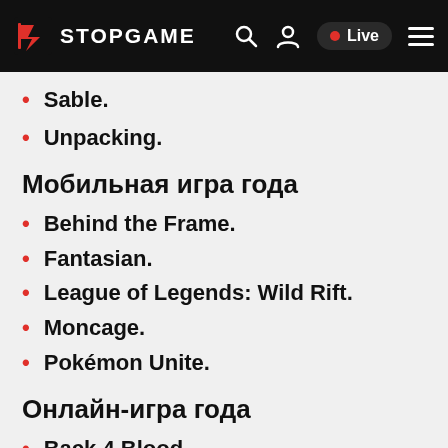STOPGAME • Live
Sable.
Unpacking.
Мобильная игра года
Behind the Frame.
Fantasian.
League of Legends: Wild Rift.
Moncage.
Pokémon Unite.
Онлайн-игра года
Back 4 Blood.
Call of Duty: Vanguard.